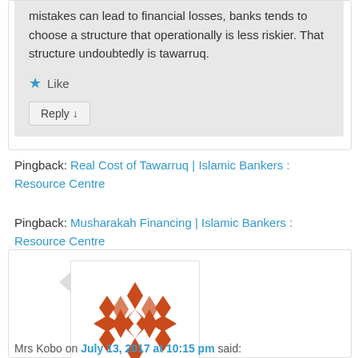mistakes can lead to financial losses, banks tends to choose a structure that operationally is less riskier. That structure undoubtedly is tawarruq.
★ Like
Reply ↓
Pingback: Real Cost of Tawarruq | Islamic Bankers : Resource Centre
Pingback: Musharakah Financing | Islamic Bankers : Resource Centre
[Figure (illustration): Decorative avatar image with orange geometric diamond/star pattern on white background]
Mrs Kobo on July 13, 2017 at 10:15 pm said: